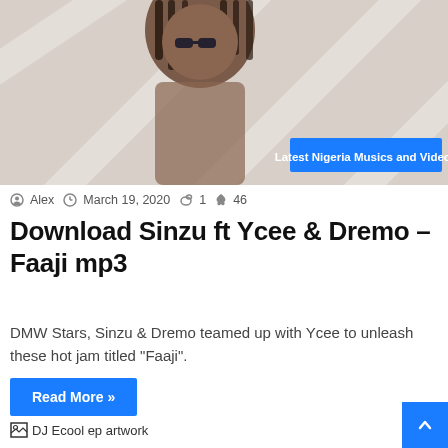[Figure (photo): Cropped photo of a person with dreadlocks against a light background with diagonal lines. Blue badge overlay reads 'Latest Nigeria Musics and Videos'.]
Alex  March 19, 2020  1  46
Download Sinzu ft Ycee & Dremo – Faaji mp3
DMW Stars, Sinzu & Dremo teamed up with Ycee to unleash these hot jam titled "Faaji".
Read More »
[Figure (photo): Broken image placeholder for DJ Ecool ep artwork]